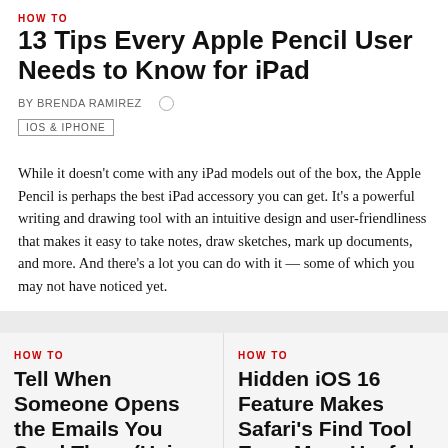HOW TO
13 Tips Every Apple Pencil User Needs to Know for iPad
BY BRENDA RAMIREZ
IOS & IPHONE
While it doesn't come with any iPad models out of the box, the Apple Pencil is perhaps the best iPad accessory you can get. It's a powerful writing and drawing tool with an intuitive design and user-friendliness that makes it easy to take notes, draw sketches, mark up documents, and more. And there's a lot you can do with it — some of which you may not have noticed yet.
HOW TO
Tell When Someone Opens the Emails You Send Them (Using Hidden Trackers or Read Receipt Requests)
BY DANIEL HIPSKIND
IOS & IPHONE
You may not always want to, but there will probably be a time when you'll want to know if an email you send —
HOW TO
Hidden iOS 16 Feature Makes Safari's Find Tool Even More Useful on Webpages
BY JUSTIN MEYERS
IOS & IPHONE
There's a new hidden feature for Safari in iOS 16, one that makes it even easier to find words, numbers,